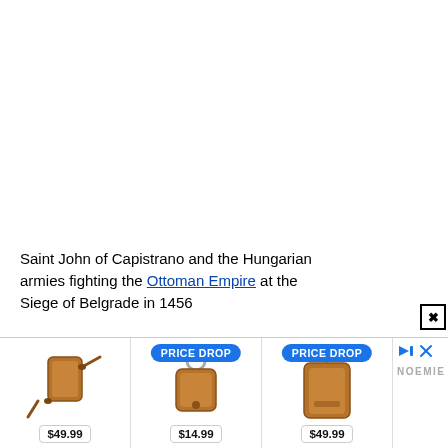Saint John of Capistrano and the Hungarian armies fighting the Ottoman Empire at the Siege of Belgrade in 1456
[Figure (other): Advertisement banner showing leather phone cases and accessories with price tags. Three product items: a crossbody phone case ($49.99), a leather pouch keychain ($14.99, PRICE DROP), and another crossbody phone case ($49.99, PRICE DROP). Brand: NOEMIE.]